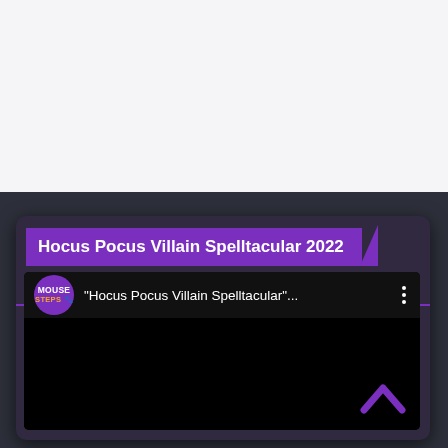Hocus Pocus Villain Spelltacular 2022
[Figure (screenshot): Embedded video player showing a YouTube-style video titled 'Hocus Pocus Villain Spelltacular' from the Mouse Steps channel, displayed on a dark background with a purple chevron up arrow in the bottom right corner.]